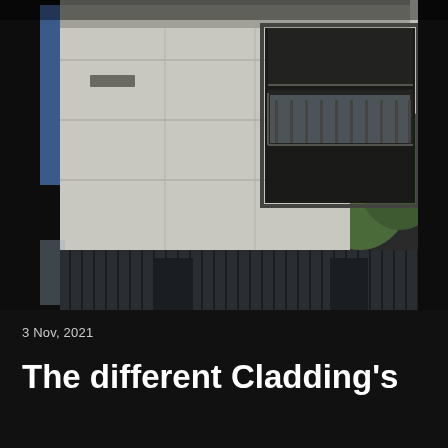[Figure (photo): Exterior view of a multi-storey residential or commercial building under construction showing light grey concrete-look cladding panels on the facade, with balconies on the right side wrapped in plastic sheeting, dark vertical metal cladding on the lower level, and neighbouring apartment buildings visible in the background with trees.]
3 Nov, 2021
The different Cladding's